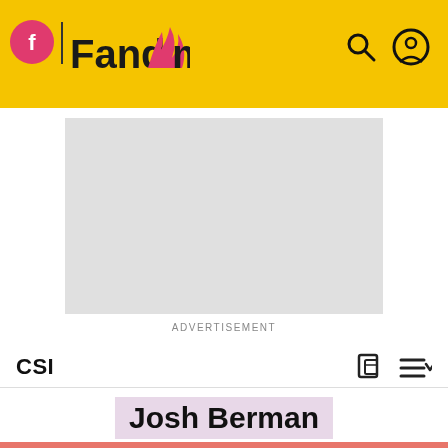[Figure (logo): Fandom website header bar with yellow background, Fandom logo on left, search and user icons on right]
[Figure (other): Advertisement placeholder rectangle (light gray)]
ADVERTISEMENT
CSI
Josh Berman
[Figure (photo): Bottom portion showing a person in dark clothing against a diagonal coral/salmon and dark stripe pattern background]